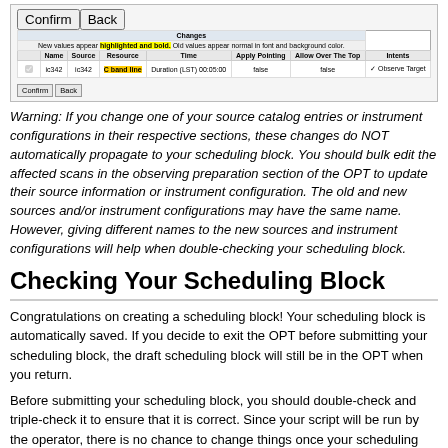[Figure (screenshot): A screenshot of a 'Changes' confirmation dialog in the OPT scheduling tool. It shows a table with columns: Name, Source, Resource, Time, Apply Pointing, Allow Over The Top, Intents. One row is shown with ic342 data, where 'C band line' is highlighted in yellow/bold. Confirm and Back buttons appear above and below.]
Warning: If you change one of your source catalog entries or instrument configurations in their respective sections, these changes do NOT automatically propagate to your scheduling block. You should bulk edit the affected scans in the observing preparation section of the OPT to update their source information or instrument configuration. The old and new sources and/or instrument configurations may have the same name. However, giving different names to the new sources and instrument configurations will help when double-checking your scheduling block.
Checking Your Scheduling Block
Congratulations on creating a scheduling block! Your scheduling block is automatically saved. If you decide to exit the OPT before submitting your scheduling block, the draft scheduling block will still be in the OPT when you return.
Before submitting your scheduling block, you should double-check and triple-check it to ensure that it is correct. Since your script will be run by the operator, there is no chance to change things once your scheduling block is on the telescope. The Report tab on the top level of your scheduling